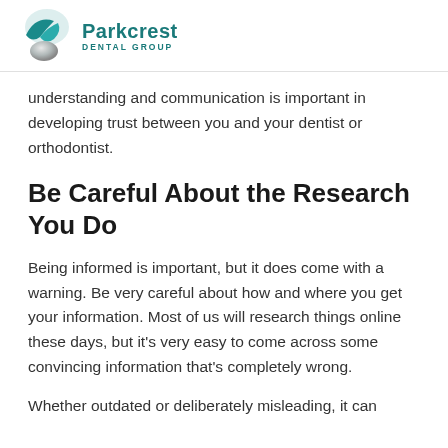Parkcrest Dental Group
understanding and communication is important in developing trust between you and your dentist or orthodontist.
Be Careful About the Research You Do
Being informed is important, but it does come with a warning. Be very careful about how and where you get your information. Most of us will research things online these days, but it’s very easy to come across some convincing information that’s completely wrong.
Whether outdated or deliberately misleading, it can